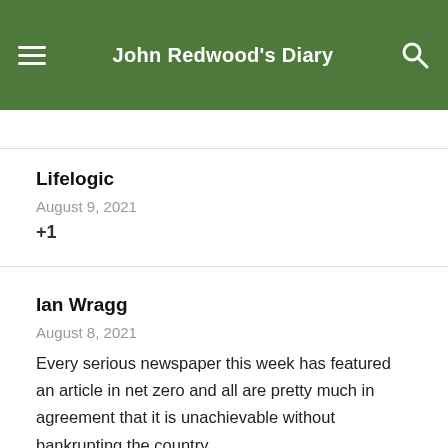John Redwood's Diary
Lifelogic
August 9, 2021
+1
Ian Wragg
August 8, 2021
Every serious newspaper this week has featured an article in net zero and all are pretty much in agreement that it is unachievable without bankrupting the country.
GB news pointed out the folly of creating thousands of green